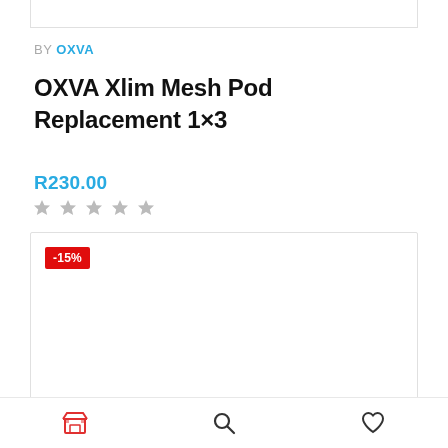[Figure (other): Top portion of a product card image (cropped, mostly white)]
BY OXVA
OXVA Xlim Mesh Pod Replacement 1×3
R230.00
[Figure (other): Five grey star rating icons]
[Figure (other): Product image card with -15% discount badge, white background]
Store icon | Search icon | Wishlist icon